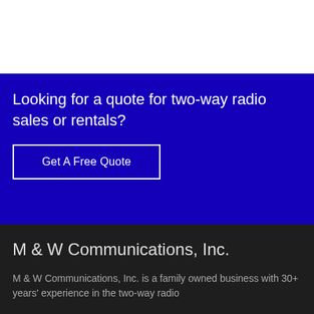Looking for a quote for two-way radio sales or rentals?
Get A Free Quote
M & W Communications, Inc.
M & W Communications, Inc. is a family owned business with 30+ years' experience in the two-way radio